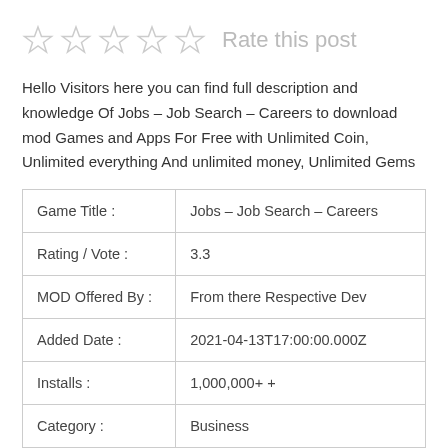[Figure (other): Five empty star rating icons followed by 'Rate this post' text]
Hello Visitors here you can find full description and knowledge Of Jobs – Job Search – Careers to download mod Games and Apps For Free with Unlimited Coin, Unlimited everything And unlimited money, Unlimited Gems
| Game Title : | Jobs – Job Search – Careers |
| Rating / Vote : | 3.3 |
| MOD Offered By : | From there Respective Dev |
| Added Date : | 2021-04-13T17:00:00.000Z |
| Installs : | 1,000,000+ + |
| Category : | Business |